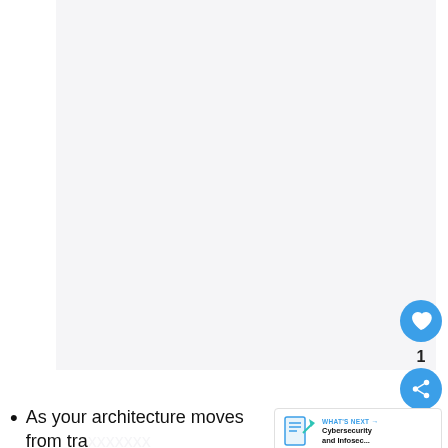[Figure (other): Large light gray placeholder image area occupying most of the upper portion of the page]
[Figure (other): Circular blue like/heart button with heart icon, count of 1 below, and circular blue share button below that]
[Figure (other): WHAT'S NEXT banner with document icon and text 'Cybersecurity and Infosec...']
As your architecture moves from tra... prem to cloud and zero-trust, be sure your defenses and detections evolve as well. If you